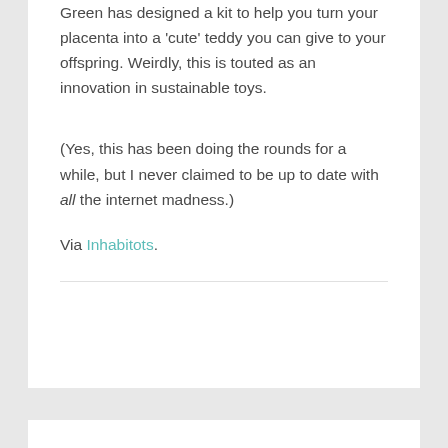Green has designed a kit to help you turn your placenta into a 'cute' teddy you can give to your offspring. Weirdly, this is touted as an innovation in sustainable toys.
(Yes, this has been doing the rounds for a while, but I never claimed to be up to date with all the internet madness.)
Via Inhabitots.